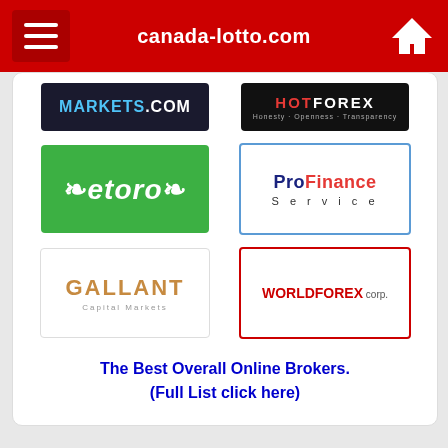canada-lotto.com
[Figure (logo): MARKETS.COM logo - dark background with white and blue text]
[Figure (logo): HotForex logo - dark background with red and white text, tagline: Honesty Openness Transparency]
[Figure (logo): eToro logo - green background with white bull horns and text]
[Figure (logo): ProFinance Service logo - blue border with navy and red text]
[Figure (logo): Gallant Capital Markets logo - horse head icon with gold text]
[Figure (logo): WorldForex Corp logo - red border with black and red text]
The Best Overall Online Brokers. (Full List click here)
THIS WEBSITE IS NOT AN OFFICIAL WEBSITE AND IS NOT ASSOCIATED WITH ANY PROVINCIAL